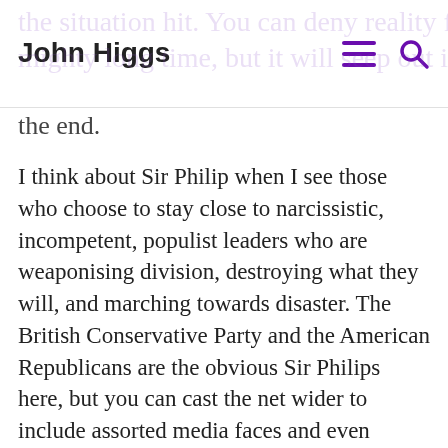John Higgs
the situation hit. You can deny reality for a mighty long time, but it will seep out in the end.
I think about Sir Philip when I see those who choose to stay close to narcissistic, incompetent, populist leaders who are weaponising division, destroying what they will, and marching towards disaster. The British Conservative Party and the American Republicans are the obvious Sir Philips here, but you can cast the net wider to include assorted media faces and even individual voters if you so wish.
I suspect you can guess what happened to George Gordon. He dropped the Protestant cause when it was no longer useful, converted to Judaism and died in jail. All that's entirely